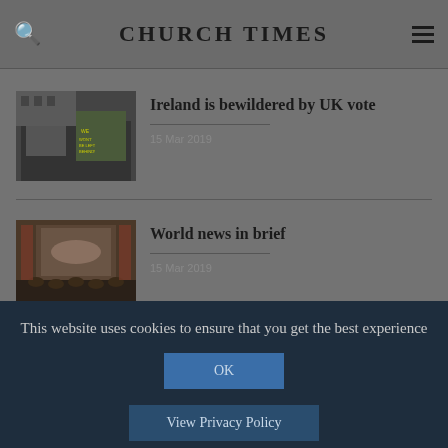CHURCH TIMES
Ireland is bewildered by UK vote
15 Mar 2019
World news in brief
15 Mar 2019
This website uses cookies to ensure that you get the best experience